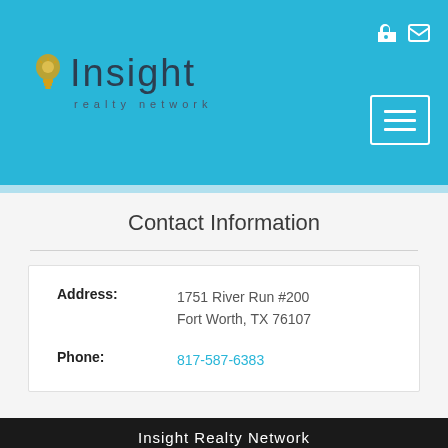Insight realty network
Contact Information
| Address: | 1751 River Run #200
Fort Worth, TX 76107 |
| Phone: | 817-587-6383 |
Insight Realty Network